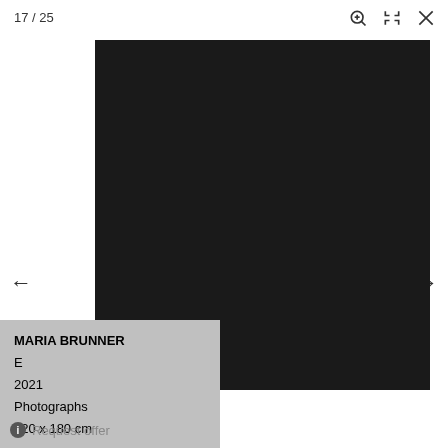17 / 25
[Figure (photo): Large dark/black photograph displayed in a viewer interface]
MARIA BRUNNER
E
2021
Photographs
220 x 180 cm
Request offer